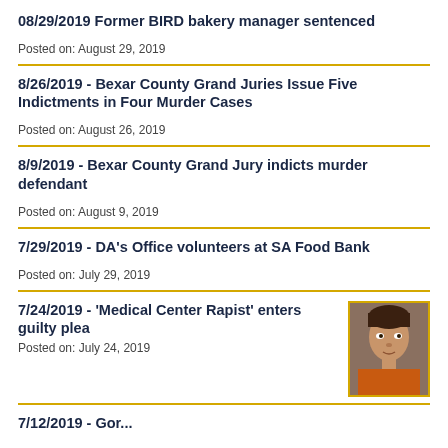08/29/2019 Former BIRD bakery manager sentenced
Posted on: August 29, 2019
8/26/2019 - Bexar County Grand Juries Issue Five Indictments in Four Murder Cases
Posted on: August 26, 2019
8/9/2019 - Bexar County Grand Jury indicts murder defendant
Posted on: August 9, 2019
7/29/2019 - DA's Office volunteers at SA Food Bank
Posted on: July 29, 2019
7/24/2019 - 'Medical Center Rapist' enters guilty plea
Posted on: July 24, 2019
[Figure (photo): Mugshot of suspect - person in orange shirt]
7/12/2019 - ...